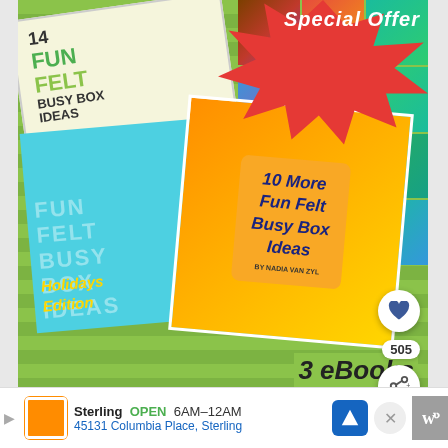[Figure (photo): Social media post showing three book covers for Fun Felt Busy Box Ideas crafting books on a green background, with a Special Offer burst in the top right corner, heart/share buttons on the right side, and a count of 505]
Special Offer
14 Fun Felt Busy Box Ideas
10 More Fun Felt Busy Box Ideas
Fun Felt Busy Box Ideas Holidays Edition
505
Sterling  OPEN  6AM–12AM
45131 Columbia Place, Sterling